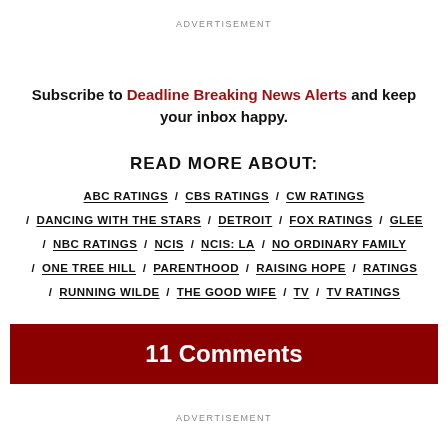ADVERTISEMENT
Subscribe to Deadline Breaking News Alerts and keep your inbox happy.
READ MORE ABOUT:
ABC RATINGS / CBS RATINGS / CW RATINGS / DANCING WITH THE STARS / DETROIT / FOX RATINGS / GLEE / NBC RATINGS / NCIS / NCIS: LA / NO ORDINARY FAMILY / ONE TREE HILL / PARENTHOOD / RAISING HOPE / RATINGS / RUNNING WILDE / THE GOOD WIFE / TV / TV RATINGS
11 Comments
ADVERTISEMENT